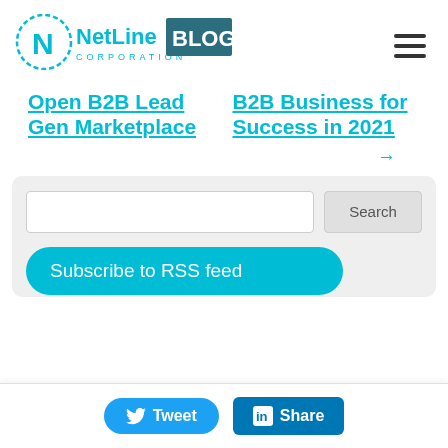[Figure (logo): NetLine Corporation BLOG logo with cyan N icon and dark teal BLOG box]
Open B2B Lead Gen Marketplace
B2B Business for Success in 2021
→
[Figure (screenshot): Search input box with Search button, Subscribe to RSS feed button, and Tweet/Share social buttons]